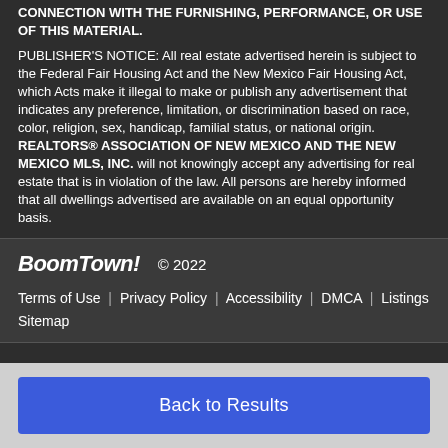CONNECTION WITH THE FURNISHING, PERFORMANCE, OR USE OF THIS MATERIAL.
PUBLISHER'S NOTICE: All real estate advertised herein is subject to the Federal Fair Housing Act and the New Mexico Fair Housing Act, which Acts make it illegal to make or publish any advertisement that indicates any preference, limitation, or discrimination based on race, color, religion, sex, handicap, familial status, or national origin. REALTORS® ASSOCIATION OF NEW MEXICO AND THE NEW MEXICO MLS, INC. will not knowingly accept any advertising for real estate that is in violation of the law. All persons are hereby informed that all dwellings advertised are available on an equal opportunity basis.
BoomTown! © 2022
Terms of Use | Privacy Policy | Accessibility | DMCA | Listings Sitemap
Back to Results